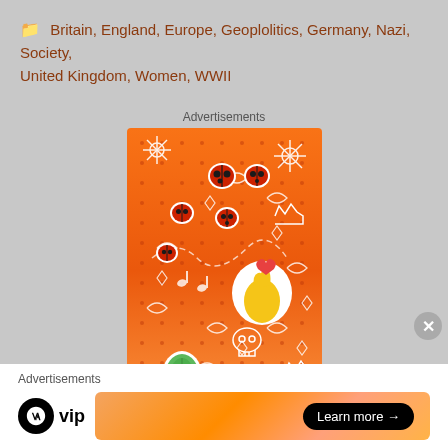Britain, England, Europe, Geoplolitics, Germany, Nazi, Society, United Kingdom, Women, WWII
Advertisements
[Figure (illustration): Orange gradient advertisement banner with doodle stickers including ladybugs, flowers, a finger-heart gesture, a skull, and leaf characters on an orange-red dotted background.]
Advertisements
[Figure (logo): WordPress VIP logo with a black circle containing a white W and the text 'vip']
[Figure (illustration): Orange gradient banner with Learn more arrow button in black pill shape]